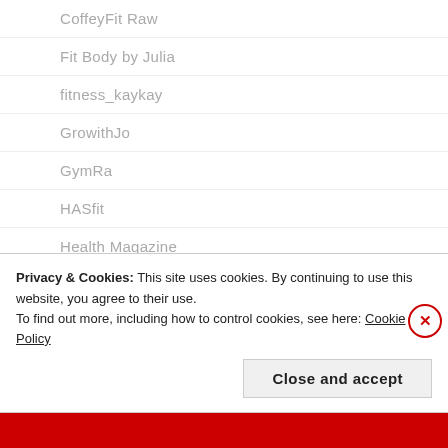CoffeyFit Raw
Fit Body by Julia
fitness_kaykay
GrowithJo
GymRa
HASfit
Health Magazine
JessicaSmithTV
Livestrong Woman
Naomi Joy Fitness
Privacy & Cookies: This site uses cookies. By continuing to use this website, you agree to their use.
To find out more, including how to control cookies, see here: Cookie Policy
Close and accept